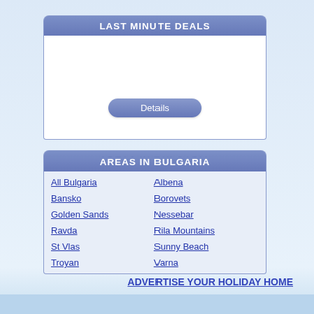LAST MINUTE DEALS
[Figure (screenshot): White content area with a Details button]
AREAS IN BULGARIA
| All Bulgaria | Albena |
| Bansko | Borovets |
| Golden Sands | Nessebar |
| Ravda | Rila Mountains |
| St Vlas | Sunny Beach |
| Troyan | Varna |
ADVERTISE YOUR HOLIDAY HOME